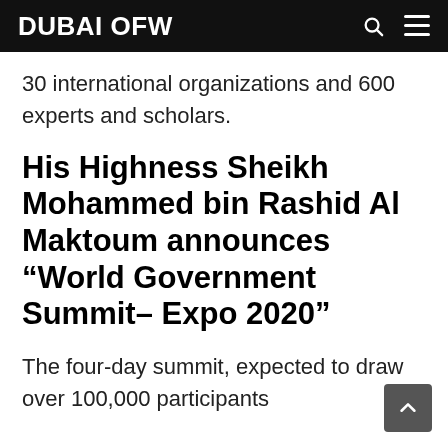DUBAI OFW
30 international organizations and 600 experts and scholars.
His Highness Sheikh Mohammed bin Rashid Al Maktoum announces “World Government Summit– Expo 2020”
The four-day summit, expected to draw over 100,000 participants